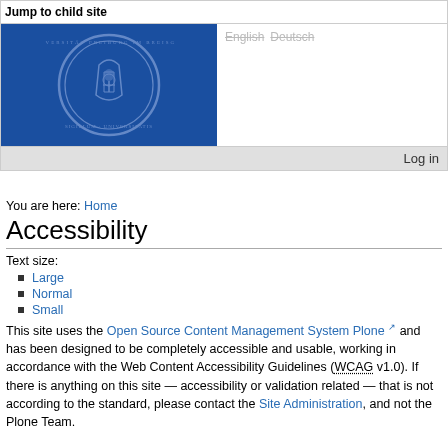Jump to child site
[Figure (logo): University seal/logo on blue background with German university crest, beside language links (English, Deutsch) and a Log in button]
You are here: Home
Accessibility
Text size:
Large
Normal
Small
This site uses the Open Source Content Management System Plone and has been designed to be completely accessible and usable, working in accordance with the Web Content Accessibility Guidelines (WCAG v1.0). If there is anything on this site — accessibility or validation related — that is not according to the standard, please contact the Site Administration, and not the Plone Team.